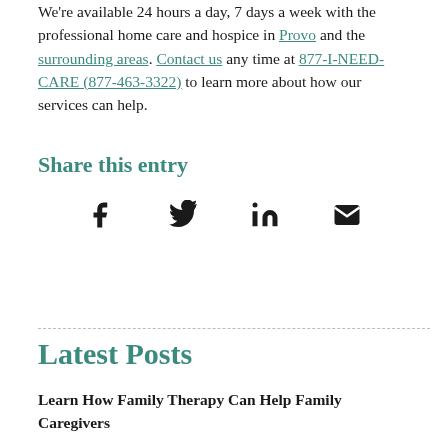We're available 24 hours a day, 7 days a week with the professional home care and hospice in Provo and the surrounding areas. Contact us any time at 877-I-NEED-CARE (877-463-3322) to learn more about how our services can help.
Share this entry
[Figure (other): Social share icons: Facebook, Twitter, LinkedIn, Email]
Latest Posts
Learn How Family Therapy Can Help Family Caregivers